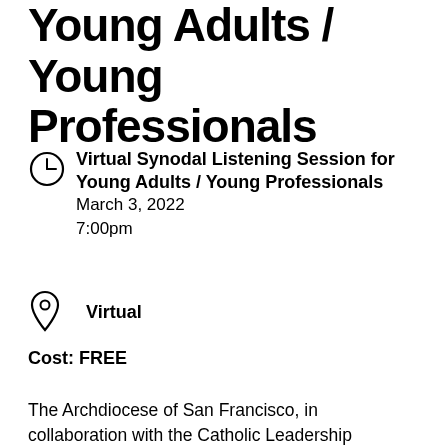Young Adults / Young Professionals
Virtual Synodal Listening Session for Young Adults / Young Professionals
March 3, 2022
7:00pm
Virtual
Cost: FREE
The Archdiocese of San Francisco, in collaboration with the Catholic Leadership